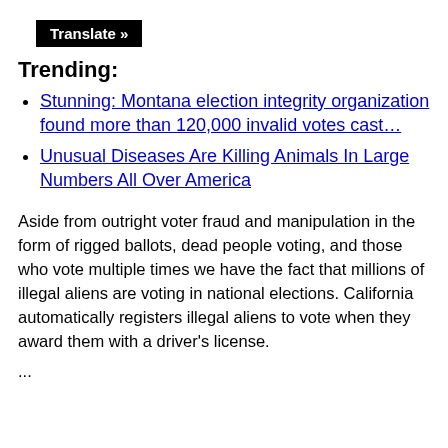Translate »
Trending:
Stunning: Montana election integrity organization found more than 120,000 invalid votes cast…
Unusual Diseases Are Killing Animals In Large Numbers All Over America
Aside from outright voter fraud and manipulation in the form of rigged ballots, dead people voting, and those who vote multiple times we have the fact that millions of illegal aliens are voting in national elections. California automatically registers illegal aliens to vote when they award them with a driver's license.
...